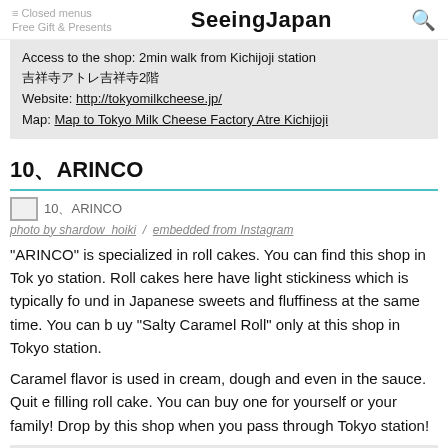SeeingJapan
Access to the shop: 2min walk from Kichijoji station
吉祥寺アトレ吉祥寺2階
Website: http://tokyomilkcheese.jp/
Map: Map to Tokyo Milk Cheese Factory Atre Kichijoji
10、ARINCO
[Figure (photo): Photo of 10、ARINCO shop]
photo by shardow_hoiki  /  embedded from Instagram
“ARINCO” is specialized in roll cakes. You can find this shop in Tokyo station. Roll cakes here have light stickiness which is typically found in Japanese sweets and fluffiness at the same time. You can buy “Salty Caramel Roll” only at this shop in Tokyo station.
Caramel flavor is used in cream, dough and even in the sauce. Quite filling roll cake. You can buy one for yourself or your family! Drop by this shop when you pass through Tokyo station!
■Information
Shop: ARINCO TOKYO STATION